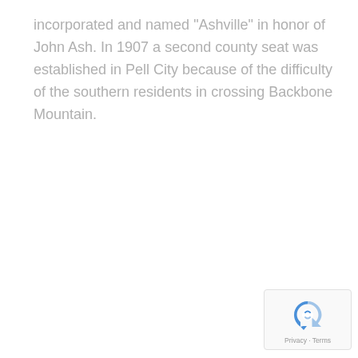incorporated and named "Ashville" in honor of John Ash. In 1907 a second county seat was established in Pell City because of the difficulty of the southern residents in crossing Backbone Mountain.
[Figure (other): Google reCAPTCHA badge with spinning arrow logo and Privacy · Terms text]